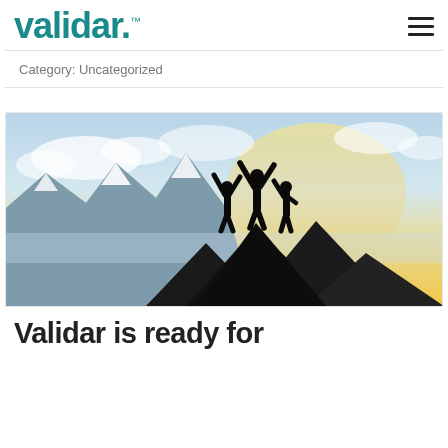validar.™
Category: Uncategorized
[Figure (photo): Three silhouetted people standing on a mountain summit with arms raised in celebration, dramatic sky with golden light and snow-capped mountains in background.]
Validar is ready for